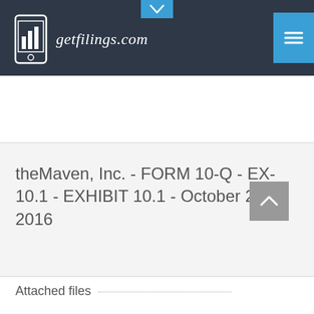[Figure (logo): getfilings.com logo with bar chart icon on mobile phone, white text on dark navy background]
theMaven, Inc. - FORM 10-Q - EX-10.1 - EXHIBIT 10.1 - October 28, 2016
Attached files